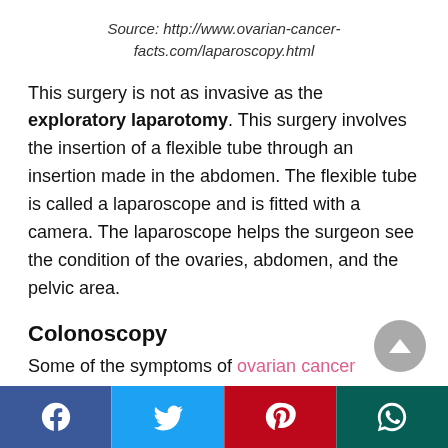Source: http://www.ovarian-cancer-facts.com/laparoscopy.html
This surgery is not as invasive as the exploratory laparotomy. This surgery involves the insertion of a flexible tube through an insertion made in the abdomen. The flexible tube is called a laparoscope and is fitted with a camera. The laparoscope helps the surgeon see the condition of the ovaries, abdomen, and the pelvic area.
Colonoscopy
Some of the symptoms of ovarian cancer